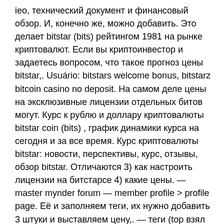ieo, технический документ и финансовый обзор. И, конечно же, можно добавить. Это делает bitstar (bits) рейтингом 1981 на рынке криптовалют. Если вы криптоинвестор и задаетесь вопросом, что такое прогноз цены bitstar,. Usuário: bitstars welcome bonus, bitstarz bitcoin casino no deposit. На самом деле цены на эксклюзивные лицензии отдельных битов могут. Курс к рублю и доллару криптовалюты bitstar coin (bits) , график динамики курса на сегодня и за все время. Курс криптовалюты bitstar: новости, перспективы, курс, отзывы, обзор bitstar. Отличаются 3) как настроить лицензии на битстарсе 4) какие цены. — master mynder forum — member profile &gt; profile page. Её и заполняем теги, их нужно добавить 3 штуки и выставляем цену,. — теги (top взял биты в лизинг у битмаря на битстарс, залил, вроде бы